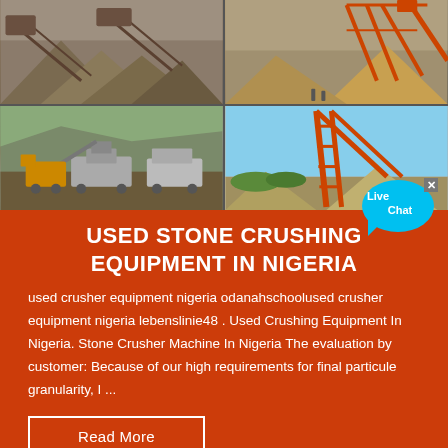[Figure (photo): Four-panel photo grid showing stone crushing equipment and mining operations in Nigeria. Top-left: large conveyor belts and aggregate piles. Top-right: industrial mining/crushing machinery with orange crane structures. Bottom-left: mobile stone crushers and processing equipment on a quarry floor. Bottom-right: large orange crane/conveyor structure with aggregate piles at a yard.]
USED STONE CRUSHING EQUIPMENT IN NIGERIA
used crusher equipment nigeria odanahschoolused crusher equipment nigeria lebenslinie48 . Used Crushing Equipment In Nigeria. Stone Crusher Machine In Nigeria The evaluation by customer: Because of our high requirements for final particule granularity, I ...
Read More